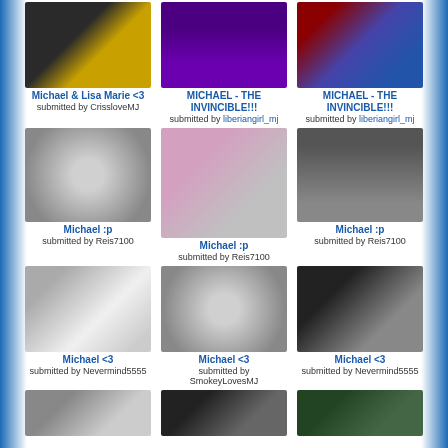[Figure (photo): Photo of Michael & Lisa Marie, dark background with gold tones]
Michael & Lisa Marie <3
submitted by CrissloveMJ
[Figure (photo): Michael Jackson in purple outfit walking]
MICHAEL - THE INVINCIBLE!!!
submitted by liberiangirl_mj
[Figure (photo): Michael Jackson on red carpet with crowd]
MICHAEL - THE INVINCIBLE!!!
submitted by liberiangirl_mj
[Figure (photo): Michael Jackson reading newspaper with sunglasses, red door background]
Michael :p
submitted by Reis7100
[Figure (photo): Black and white photo of young Michael Jackson playing drums]
Michael :p
submitted by Reis7100
[Figure (photo): Young Michael Jackson smiling, curly hair, outdoor background]
Michael :p
submitted by Reis7100
[Figure (photo): Michael Jackson posing flexing in dark outfit against white background]
Michael <3
submitted by Nevermind5555
[Figure (photo): Black and white photo of Michael Jackson smiling with long hair]
Michael <3
submitted by SmokeyLovesMJ
[Figure (photo): Close-up portrait of Michael Jackson with signature look]
Michael <3
submitted by Nevermind5555
[Figure (photo): Partial photo row at bottom - three partially visible photos]